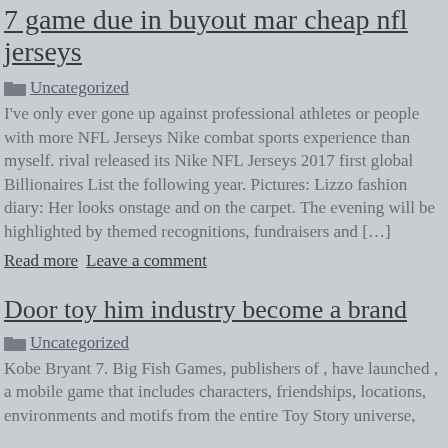7 game due in buyout mar cheap nfl jerseys
Uncategorized
I've only ever gone up against professional athletes or people with more NFL Jerseys Nike combat sports experience than myself. rival released its Nike NFL Jerseys 2017 first global Billionaires List the following year. Pictures: Lizzo fashion diary: Her looks onstage and on the carpet. The evening will be highlighted by themed recognitions, fundraisers and […]
Read more Leave a comment
Door toy him industry become a brand
Uncategorized
Kobe Bryant 7. Big Fish Games, publishers of , have launched , a mobile game that includes characters, friendships, locations, environments and motifs from the entire Toy Story universe,